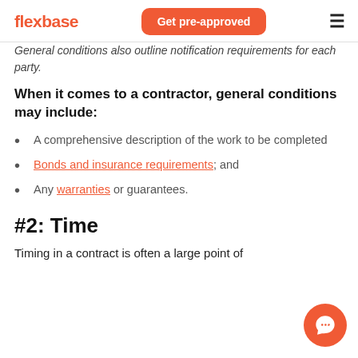flexbase | Get pre-approved
General conditions also outline notification requirements for each party.
When it comes to a contractor, general conditions may include:
A comprehensive description of the work to be completed
Bonds and insurance requirements; and
Any warranties or guarantees.
#2: Time
Timing in a contract is often a large point of